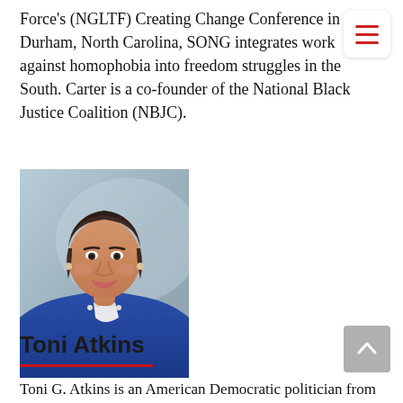Force's (NGLTF) Creating Change Conference in Durham, North Carolina, SONG integrates work against homophobia into freedom struggles in the South. Carter is a co-founder of the National Black Justice Coalition (NBJC).
[Figure (photo): Headshot photo of Toni Atkins, a woman with short dark hair wearing a blue jacket and pearl necklace, photographed against a light blue background.]
Toni Atkins
Toni G. Atkins is an American Democratic politician from San Diego, California. She was the Speaker of the California State Assembly and is currently a member of